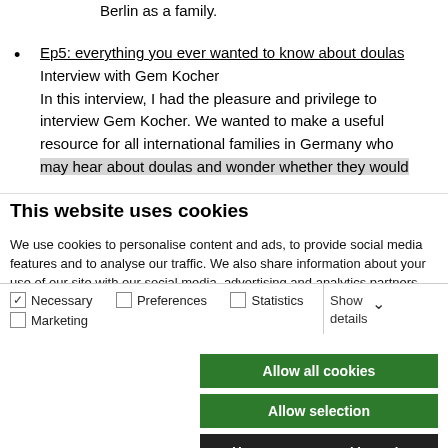Berlin as a family.
Ep5: everything you ever wanted to know about doulas
Interview with Gem Kocher
In this interview, I had the pleasure and privilege to interview Gem Kocher. We wanted to make a useful resource for all international families in Germany who may hear about doulas and wonder whether they would
This website uses cookies
We use cookies to personalise content and ads, to provide social media features and to analyse our traffic. We also share information about your use of our site with our social media, advertising and analytics partners who may combine it with other information that you've provided to them or that they've collected from your use of their services.
Allow all cookies
Allow selection
Use necessary cookies only
Necessary   Preferences   Statistics   Marketing   Show details